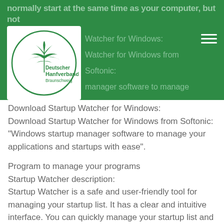normally start at the same time as your computer, but not
[Figure (logo): Deutscher Hanfverband Braunschweig logo — circular border with a stylized hemp leaf and text]
Download Startup Watcher for Windows:
Download Startup Watcher for Windows from Softonic:
"Windows startup manager software to manage your applications and startups with ease".
Program to manage your programs
Startup Watcher description:
Startup Watcher is a safe and user-friendly tool for managing your startup list. It has a clear and intuitive interface. You can quickly manage your startup list and delete the programs you don't want to start at the same time. Startup Watcher is your